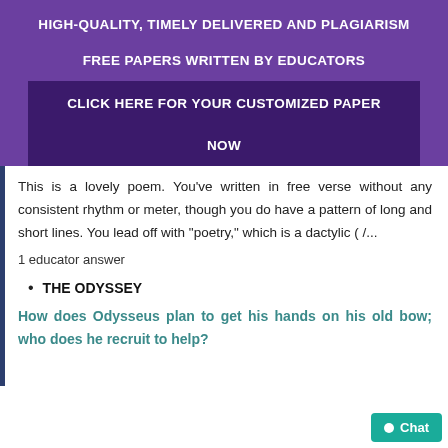HIGH-QUALITY, TIMELY DELIVERED AND PLAGIARISM FREE PAPERS WRITTEN BY EDUCATORS
CLICK HERE FOR YOUR CUSTOMIZED PAPER NOW
This is a lovely poem. You've written in free verse without any consistent rhythm or meter, though you do have a pattern of long and short lines. You lead off with “poetry,” which is a dactylic ( /…
1 educator answer
THE ODYSSEY
How does Odysseus plan to get his hands on his old bow; who does he recruit to help?